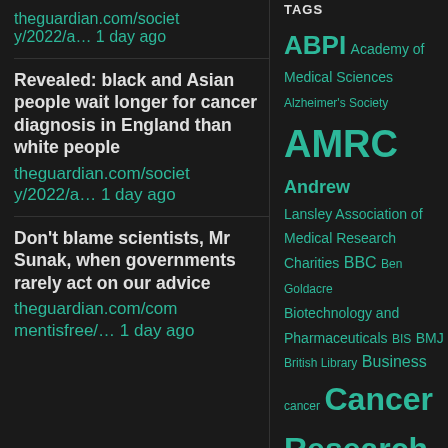theguardian.com/societ y/2022/a… 1 day ago
Revealed: black and Asian people wait longer for cancer diagnosis in England than white people theguardian.com/society/2022/a… 1 day ago
Don't blame scientists, Mr Sunak, when governments rarely act on our advice theguardian.com/commentisfree/… 1 day ago
TAGS
ABPI Academy of Medical Sciences Alzheimer's Society AMRC Andrew Lansley Association of Medical Research Charities BBC Ben Goldacre Biotechnology and Pharmaceuticals BIS BMJ British Library Business cancer Cancer Research UK charities Chief Medical Officer clinical